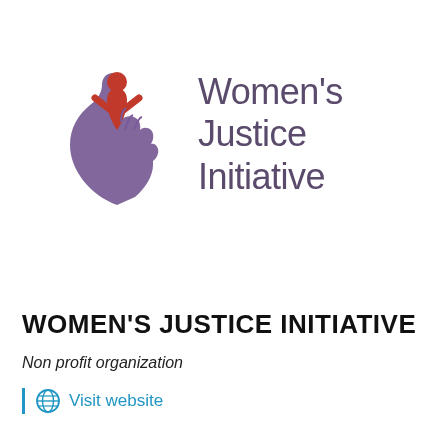[Figure (logo): Women's Justice Initiative logo: red figure with arms raised above a purple hand, with text 'Women's Justice Initiative' in purple to the right]
WOMEN'S JUSTICE INITIATIVE
Non profit organization
Visit website